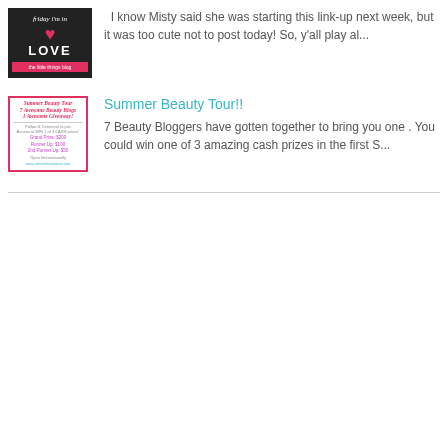[Figure (illustration): Friday I'm in Love blog thumbnail - dark background with heart and text]
I know Misty said she was starting this link-up next week, but it was too cute not to post today! So, y'all play al...
[Figure (illustration): Summer Beauty Tour promotional image with pink border showing prize amounts $200, $100, $50]
Summer Beauty Tour!!
7 Beauty Bloggers have gotten together to bring you one . You could win one of 3 amazing cash prizes in the first S...